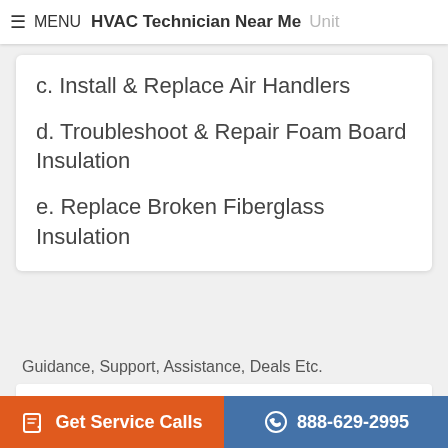≡ MENU  HVAC Technician Near Me  Unit
c. Install & Replace Air Handlers
d. Troubleshoot & Repair Foam Board Insulation
e. Replace Broken Fiberglass Insulation
Guidance, Support, Assistance, Deals Etc.
Should You Have The Air Ducts In Your ...
Technical & Service Manual
Get Service Calls   888-629-2995